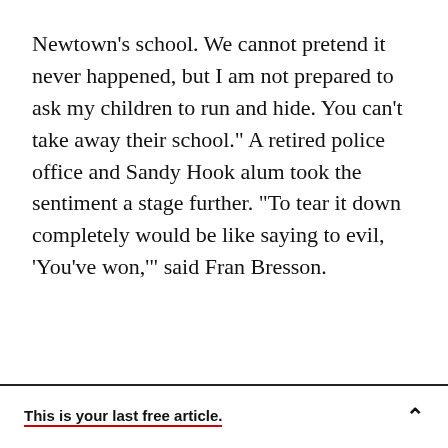Newtown's school. We cannot pretend it never happened, but I am not prepared to ask my children to run and hide. You can't take away their school." A retired police office and Sandy Hook alum took the sentiment a stage further. "To tear it down completely would be like saying to evil, 'You've won,'" said Fran Bresson.
This is your last free article.